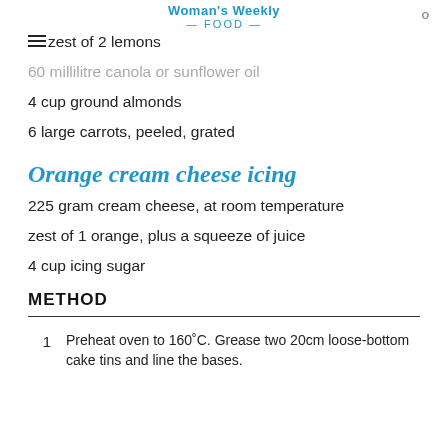Woman's Weekly FOOD
zest of 2 lemons
60 millilitre canola or sunflower oil
4 cup ground almonds
6 large carrots, peeled, grated
Orange cream cheese icing
225 gram cream cheese, at room temperature
zest of 1 orange, plus a squeeze of juice
4 cup icing sugar
METHOD
1 Preheat oven to 160°C. Grease two 20cm loose-bottom cake tins and line the bases.